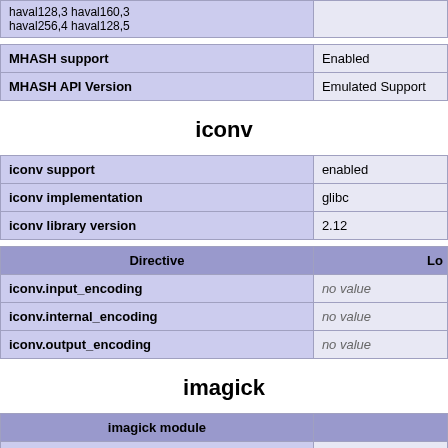| haval128,3 haval160,3 haval256,4 haval128,5 |  |
| MHASH support | Enabled |
| --- | --- |
| MHASH API Version | Emulated Support |
iconv
| iconv support | enabled |
| iconv implementation | glibc |
| iconv library version | 2.12 |
| Directive | Lo |
| --- | --- |
| iconv.input_encoding | no value |
| iconv.internal_encoding | no value |
| iconv.output_encoding | no value |
imagick
| imagick module |  |
| --- | --- |
| imagick module version | 3.4.4 |
| imagick classes | Imagick, ImagickDraw |